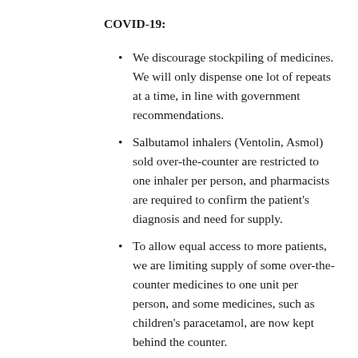COVID-19:
We discourage stockpiling of medicines. We will only dispense one lot of repeats at a time, in line with government recommendations.
Salbutamol inhalers (Ventolin, Asmol) sold over-the-counter are restricted to one inhaler per person, and pharmacists are required to confirm the patient's diagnosis and need for supply.
To allow equal access to more patients, we are limiting supply of some over-the-counter medicines to one unit per person, and some medicines, such as children's paracetamol, are now kept behind the counter.
You are welcome to leave your prescription with us, and return later for collection, if you'd prefer not to wait.
We prefer payment by tapping of debit and credit cards to minimise handling of money,